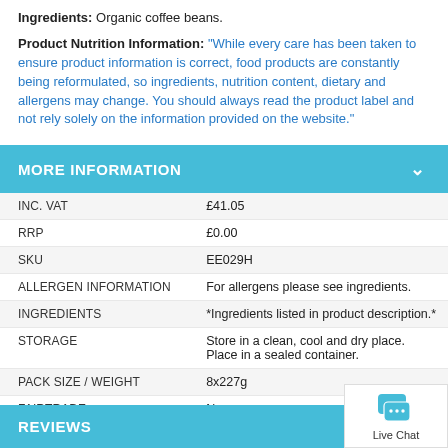Ingredients: Organic coffee beans.
Product Nutrition Information: "While every care has been taken to ensure product information is correct, food products are constantly being reformulated, so ingredients, nutrition content, dietary and allergens may change. You should always read the product label and not rely solely on the information provided on the website."
MORE INFORMATION
|  |  |
| --- | --- |
| INC. VAT | £41.05 |
| RRP | £0.00 |
| SKU | EE029H |
| ALLERGEN INFORMATION | For allergens please see ingredients. |
| INGREDIENTS | *Ingredients listed in product description.* |
| STORAGE | Store in a clean, cool and dry place. Place in a sealed container. |
| PACK SIZE / WEIGHT | 8x227g |
| FAIRTRADE | No |
REVIEWS